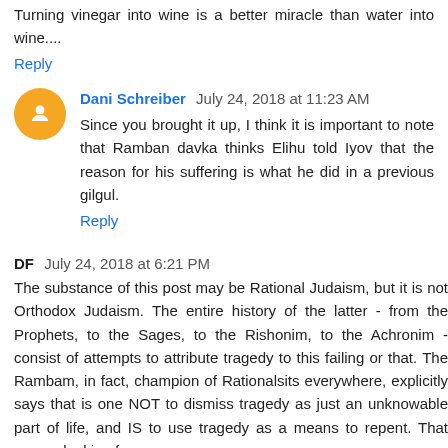Turning vinegar into wine is a better miracle than water into wine....
Reply
Dani Schreiber  July 24, 2018 at 11:23 AM
Since you brought it up, I think it is important to note that Ramban davka thinks Elihu told Iyov that the reason for his suffering is what he did in a previous gilgul.
Reply
DF  July 24, 2018 at 6:21 PM
The substance of this post may be Rational Judaism, but it is not Orthodox Judaism. The entire history of the latter - from the Prophets, to the Sages, to the Rishonim, to the Achronim - consist of attempts to attribute tragedy to this failing or that. The Rambam, in fact, champion of Rationalsits everywhere, explicitly says that is one NOT to dismiss tragedy as just an unknowable part of life, and IS to use tragedy as a means to repent. That means looking for